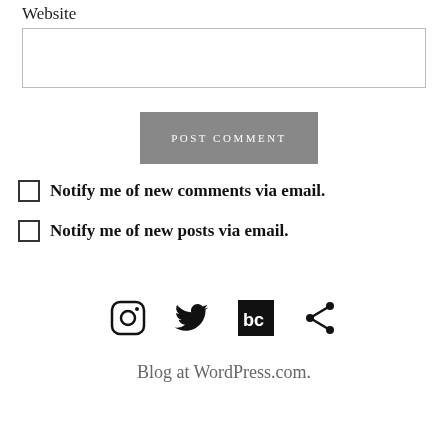Website
POST COMMENT
Notify me of new comments via email.
Notify me of new posts via email.
[Figure (infographic): Row of four social/share icons: Instagram, Twitter, Bandcamp, Share]
Blog at WordPress.com.